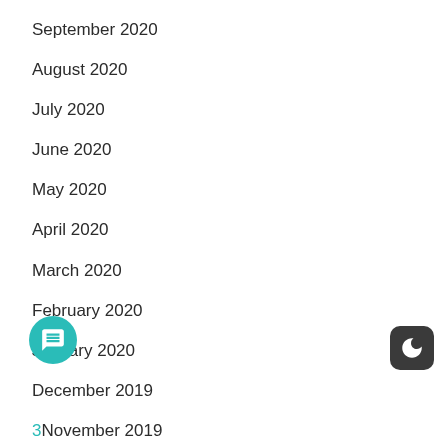September 2020
August 2020
July 2020
June 2020
May 2020
April 2020
March 2020
February 2020
January 2020
December 2019
3 November 2019
October 2019
September 2019